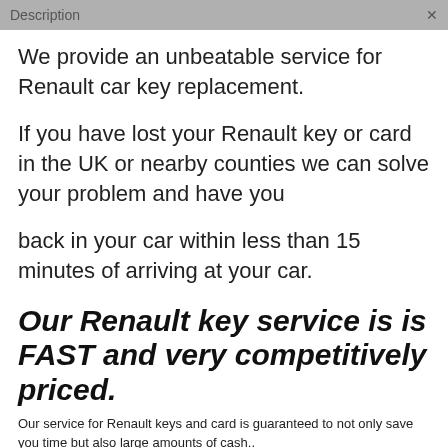Description
We provide an unbeatable service for Renault car key replacement.
If you have lost your Renault key or card in the UK or nearby counties we can solve your problem and have you
back in your car within less than 15 minutes of arriving at your car.
Our Renault key service is is FAST and very competitively priced.
Our service for Renault keys and card is guaranteed to not only save you time but also large amounts of cash..